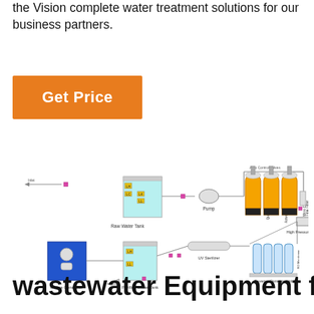the Vision complete water treatment solutions for our business partners.
Get Price
[Figure (schematic): Water treatment system schematic diagram showing: Raw Water Tank with level sensors (LH, LC, L4, LL), Pump, three yellow filter vessels (Quartz Sand Filter, Activated Carbon Filter, Micro Carbon Filter) with Auto Control Valves at top, Fine Filter, High Pressure Pump, UV Sterilizer, Reverse Osmosis Unit with RO Membranes (x4), Purified Water Tank with level sensors (LH, LL), Ozone Generator, and Tap output. Components connected by pipes with pink/magenta valve indicators.]
wastewater Equipment for